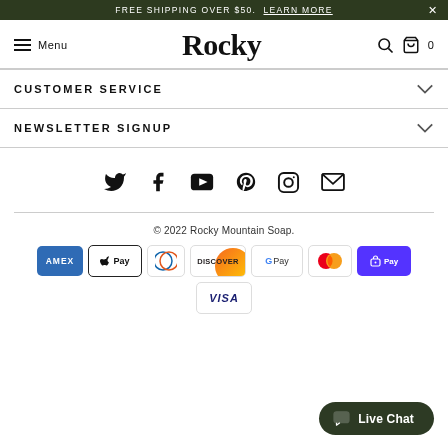FREE SHIPPING OVER $50. LEARN MORE
[Figure (screenshot): Rocky Mountain Soap website navigation bar with hamburger menu, Rocky logo, search and cart icons]
CUSTOMER SERVICE
NEWSLETTER SIGNUP
[Figure (infographic): Social media icons: Twitter, Facebook, YouTube, Pinterest, Instagram, Email]
© 2022 Rocky Mountain Soap.
[Figure (infographic): Payment method icons: AMEX, Apple Pay, Diners Club, Discover, Google Pay, Mastercard, ShopPay, Visa]
[Figure (other): Live Chat button]